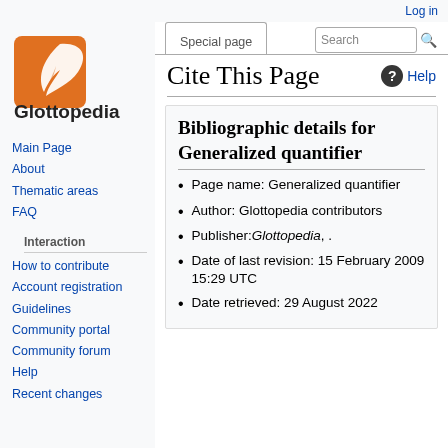Log in
[Figure (logo): Glottopedia logo: orange square with white feather quill, text 'Glottopedia Discovering Linguistics']
Main Page
About
Thematic areas
FAQ
Interaction
How to contribute
Account registration
Guidelines
Community portal
Community forum
Help
Recent changes
Cite This Page
Bibliographic details for Generalized quantifier
Page name: Generalized quantifier
Author: Glottopedia contributors
Publisher: Glottopedia, .
Date of last revision: 15 February 2009 15:29 UTC
Date retrieved: 29 August 2022